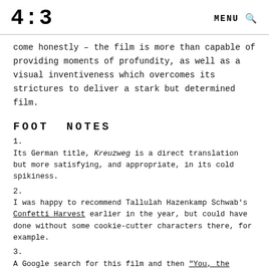4:3  MENU 🔍
come honestly – the film is more than capable of providing moments of profundity, as well as a visual inventiveness which overcomes its strictures to deliver a stark but determined film.
FOOT NOTES
1.
Its German title, Kreuzweg is a direct translation but more satisfying, and appropriate, in its cold spikiness.
2.
I was happy to recommend Tallulah Hazenkamp Schwab's Confetti Harvest earlier in the year, but could have done without some cookie-cutter characters there, for example.
3.
A Google search for this film and then "You, the Living screenshots" will illustrate just how similar the films can look.
4.